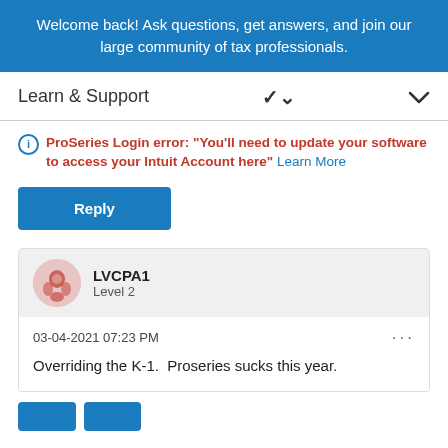Welcome back! Ask questions, get answers, and join our large community of tax professionals.
Learn & Support
ProSeries Login error: "You'll need to update your software to access your Intuit Account here" Learn More
Reply
LVCPA1
Level 2
03-04-2021 07:23 PM
Overriding the K-1.  Proseries sucks this year.